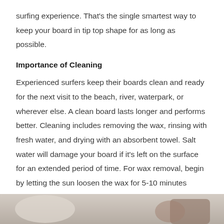surfing experience. That's the single smartest way to keep your board in tip top shape for as long as possible.
Importance of Cleaning
Experienced surfers keep their boards clean and ready for the next visit to the beach, river, waterpark, or wherever else. A clean board lasts longer and performs better. Cleaning includes removing the wax, rinsing with fresh water, and drying with an absorbent towel. Salt water will damage your board if it's left on the surface for an extended period of time. For wax removal, begin by letting the sun loosen the wax for 5-10 minutes before using a comb for scraping off the slightly melted wax.
[Figure (photo): Partial photo visible at bottom of page, showing what appears to be hands or a surfboard, cropped.]